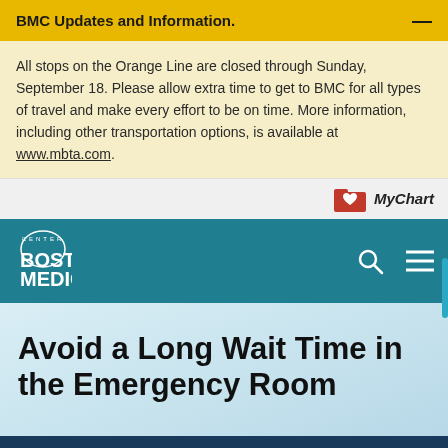BMC Updates and Information.
All stops on the Orange Line are closed through Sunday, September 18. Please allow extra time to get to BMC for all types of travel and make every effort to be on time. More information, including other transportation options, is available at www.mbta.com.
[Figure (logo): MyChart logo with red folder icon and heart]
[Figure (logo): Boston Medical Center logo in teal navigation bar with search and menu icons]
Avoid a Long Wait Time in the Emergency Room
Select your language: English | Español